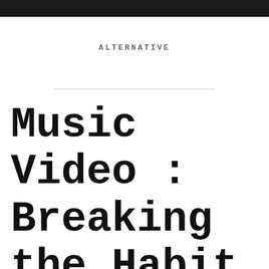ALTERNATIVE
Music Video : Breaking the Habit by Linkin